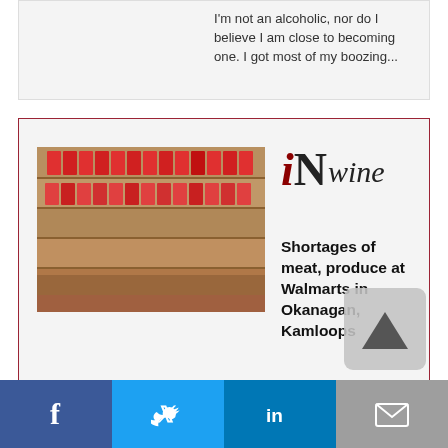I'm not an alcoholic, nor do I believe I am close to becoming one. I got most of my boozing...
[Figure (photo): Photo of meat/produce shelves at a Walmart store]
iNwine
Shortages of meat, produce at Walmarts in Okanagan, Kamloops
[Figure (photo): Photo of protesters/workers on strike with BCGEU signs]
iN420
Cannabis stores grapple with delivery stoppage as BCGEU workers go on strike
Facebook Twitter LinkedIn Email social share buttons